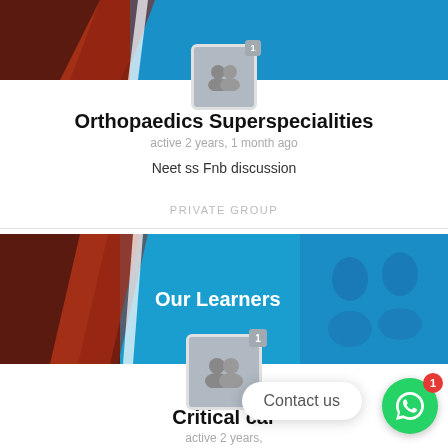[Figure (screenshot): Banner image for Orthopaedics Superspecialities group with blue and dark red gradient]
Orthopaedics Superspecialities
active 2 years, 1 month ago
Neet ss Fnb discussion
PRIVATE GROUP
[Figure (screenshot): Banner image for Our Learners group with blue and dark red gradient, text 'Our Learners']
Critical care
active 2 years,
Neet ss Dm discussion
Contact us